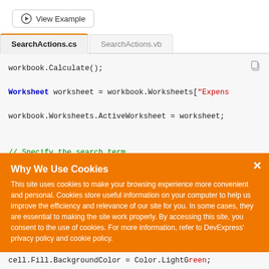[Figure (screenshot): View Example button with icon at top of page]
SearchActions.cs   SearchActions.vb
[Figure (screenshot): Code editor showing C# code: workbook.Calculate(); Worksheet worksheet = workbook.Worksheets["Expens... workbook.Worksheets.ActiveWorksheet = worksheet; // Specify the search term. string searchString = DateTime.Today.ToString("d... cell.Fill.BackgroundColor = Color.LightGreen;]
Why We Use Cookies
This site uses cookies to make your browsing experience more convenient and personal. Cookies store useful information on your computer to help us improve the efficiency and relevance of our site for you. In some cases, they are essential to making the site work properly. By accessing this site, you consent to the use of cookies. For more information, refer to DevExpress' privacy policy and cookie policy.
I UNDERSTAND